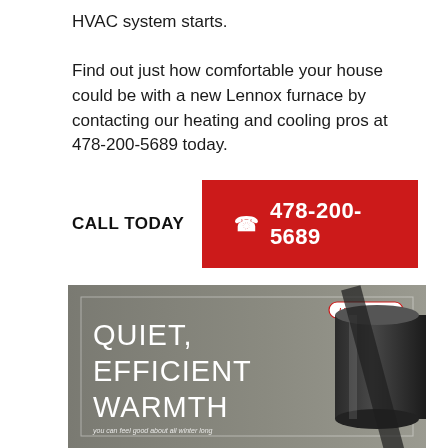HVAC system starts.
Find out just how comfortable your house could be with a new Lennox furnace by contacting our heating and cooling pros at 478-200-5689 today.
CALL TODAY  ☎ 478-200-5689
[Figure (photo): Lennox advertisement image showing a furnace pipe/component with text overlay: QUIET, EFFICIENT WARMTH — you can feel good about all winter long. Lennox logo in top right corner.]